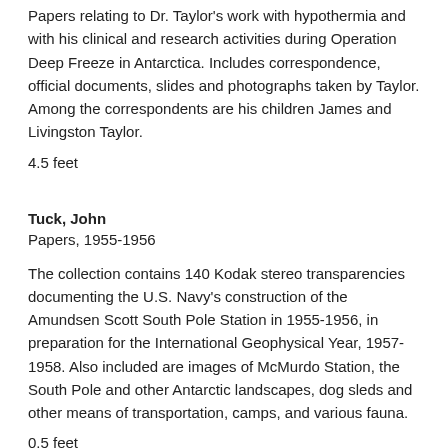Papers relating to Dr. Taylor's work with hypothermia and with his clinical and research activities during Operation Deep Freeze in Antarctica. Includes correspondence, official documents, slides and photographs taken by Taylor. Among the correspondents are his children James and Livingston Taylor.
4.5 feet
Tuck, John
Papers, 1955-1956
The collection contains 140 Kodak stereo transparencies documenting the U.S. Navy's construction of the Amundsen Scott South Pole Station in 1955-1956, in preparation for the International Geophysical Year, 1957-1958. Also included are images of McMurdo Station, the South Pole and other Antarctic landscapes, dog sleds and other means of transportation, camps, and various fauna.
0.5 feet
Warren, Alexander A.